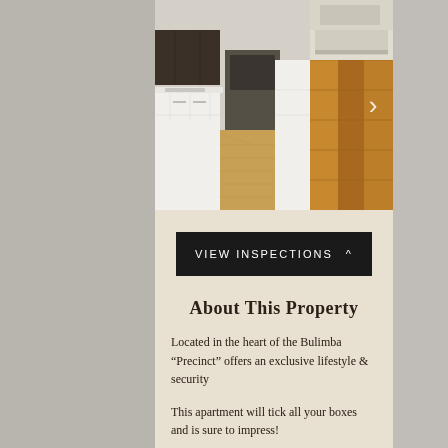[Figure (photo): Two apartment interior photos side by side: left shows a white kitchen with timber floors, right shows timber flooring detail]
[Figure (other): VIEW INSPECTIONS button with caret arrow]
About This Property
Located in the heart of the Bulimba “Precinct” offers an exclusive lifestyle & security
This apartment will tick all your boxes and is sure to impress!
The apartment offers a clever open plan layout with beautiful timber floors, a